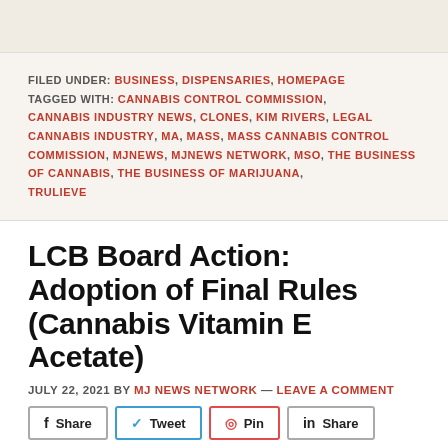FILED UNDER: BUSINESS, DISPENSARIES, HOMEPAGE
TAGGED WITH: CANNABIS CONTROL COMMISSION, CANNABIS INDUSTRY NEWS, CLONES, KIM RIVERS, LEGAL CANNABIS INDUSTRY, MA, MASS, MASS CANNABIS CONTROL COMMISSION, MJNEWS, MJNEWS NETWORK, MSO, THE BUSINESS OF CANNABIS, THE BUSINESS OF MARIJUANA, TRULIEVE
LCB Board Action: Adoption of Final Rules (Cannabis Vitamin E Acetate)
JULY 22, 2021 BY MJ NEWS NETWORK — LEAVE A COMMENT
Details of July 20,